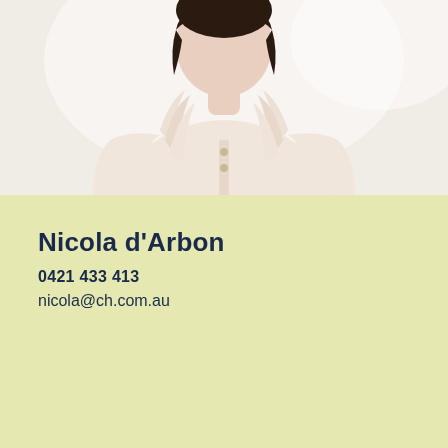[Figure (photo): Portrait photo of a woman with dark hair wearing a light pink/cream ruffled blouse, photographed from above the waist up against a bright white/light background]
Nicola d'Arbon
0421 433 413
nicola@ch.com.au